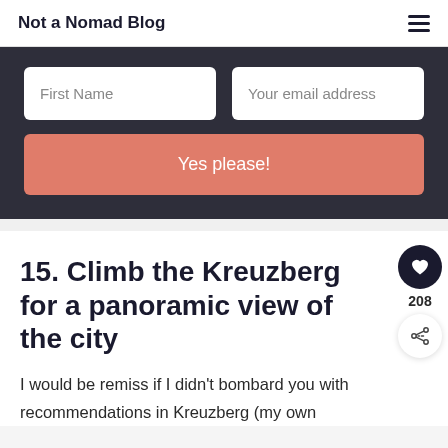Not a Nomad Blog
[Figure (screenshot): Email signup form with First Name and email address input fields and a salmon-colored 'Yes please!' button on a dark background]
15. Climb the Kreuzberg for a panoramic view of the city
I would be remiss if I didn't bombard you with recommendations in Kreuzberg (my own